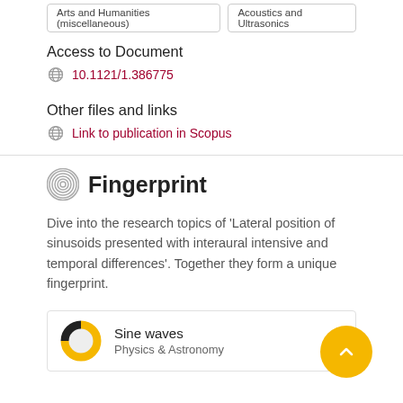Arts and Humanities (miscellaneous)
Acoustics and Ultrasonics
Access to Document
10.1121/1.386775
Other files and links
Link to publication in Scopus
Fingerprint
Dive into the research topics of 'Lateral position of sinusoids presented with interaural intensive and temporal differences'. Together they form a unique fingerprint.
Sine waves
Physics & Astronomy